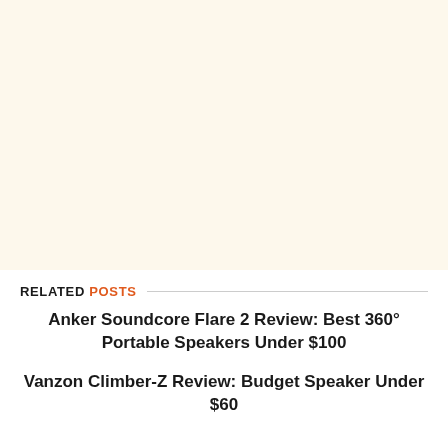[Figure (other): Large cream/off-white background area, appears to be a placeholder or image area with a pale yellow-cream color.]
RELATED POSTS
Anker Soundcore Flare 2 Review: Best 360° Portable Speakers Under $100
Vanzon Climber-Z Review: Budget Speaker Under $60